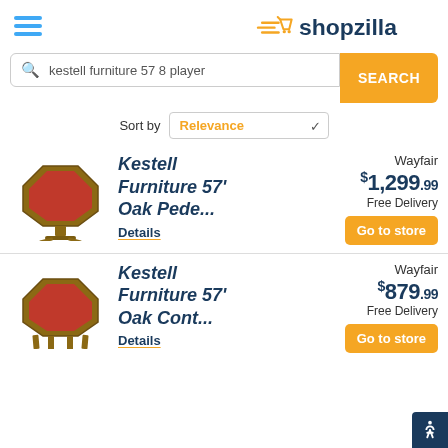shopzilla
kestell furniture 57 8 player — SEARCH
Sort by Relevance
[Figure (photo): Kestell octagonal poker table with red felt top and oak pedestal base]
Kestell Furniture 57' Oak Pede...
Details
Wayfair $1,299.99 Free Delivery Go to store
[Figure (photo): Kestell octagonal poker table with red felt top and oak folding legs]
Kestell Furniture 57' Oak Cont...
Details
Wayfair $879.99 Free Delivery Go to store